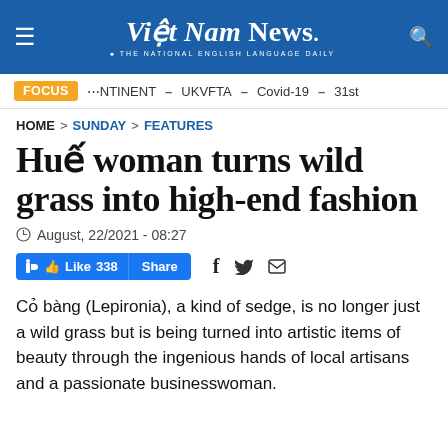Việt Nam News. THE NATIONAL ENGLISH LANGUAGE DAILY
FOCUS  ONTENT  –  UKVFTA  –  Covid-19  –  31st
HOME > SUNDAY > FEATURES
Huế woman turns wild grass into high-end fashion
August, 22/2021 - 08:27
Like 338  Share  f  t  [mail]
Cỏ bàng (Lepironia), a kind of sedge, is no longer just a wild grass but is being turned into artistic items of beauty through the ingenious hands of local artisans and a passionate businesswoman.